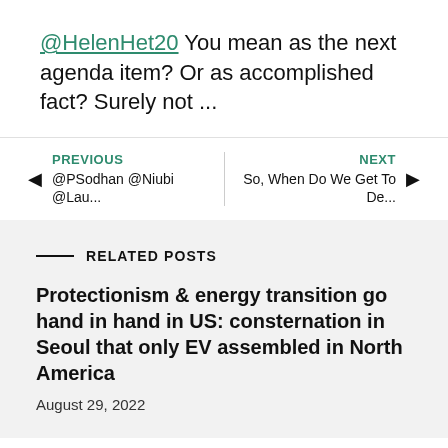@HelenHet20 You mean as the next agenda item? Or as accomplished fact? Surely not ...
PREVIOUS @PSodhan @Niubi @Lau... | NEXT So, When Do We Get To De...
RELATED POSTS
Protectionism & energy transition go hand in hand in US: consternation in Seoul that only EV assembled in North America
August 29, 2022